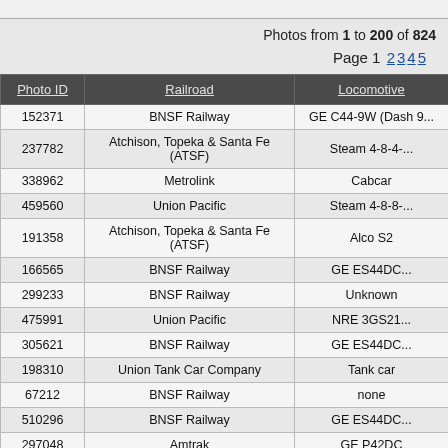Photos from 1 to 200 of 824
Page 1 2 3 4 5
| Photo ID | Railroad | Locomotive |
| --- | --- | --- |
| 152371 | BNSF Railway | GE C44-9W (Dash 9... |
| 237782 | Atchison, Topeka & Santa Fe (ATSF) | Steam 4-8-4... |
| 338962 | Metrolink | Cabcar |
| 459560 | Union Pacific | Steam 4-8-8-... |
| 191358 | Atchison, Topeka & Santa Fe (ATSF) | Alco S2 |
| 166565 | BNSF Railway | GE ES44DC... |
| 299233 | BNSF Railway | Unknown |
| 475991 | Union Pacific | NRE 3GS21... |
| 305621 | BNSF Railway | GE ES44DC... |
| 198310 | Union Tank Car Company | Tank car |
| 67212 | BNSF Railway | none |
| 510296 | BNSF Railway | GE ES44DC... |
| 297048 | Amtrak | GE P42DC |
| 752754 | BNSF Railway | GE ES44C4... |
| 348060 | Metrolink | Hyudiai-Rotem ca... |
| 355347 | BNSF Railway | GE ES44... |